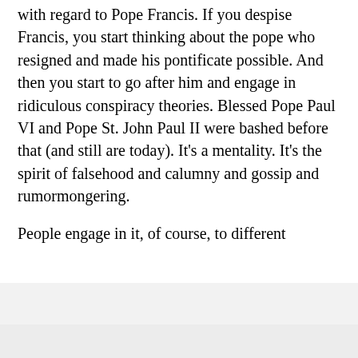with regard to Pope Francis. If you despise Francis, you start thinking about the pope who resigned and made his pontificate possible. And then you start to go after him and engage in ridiculous conspiracy theories. Blessed Pope Paul VI and Pope St. John Paul II were bashed before that (and still are today). It’s a mentality. It’s the spirit of falsehood and calumny and gossip and rumormongering.
People engage in it, of course, to different degrees of consistency, fanaticism, and